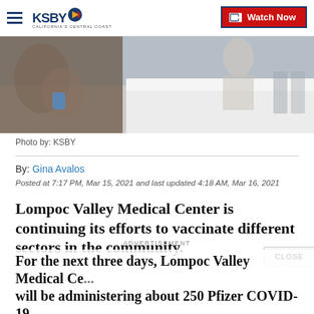KSBY — California's Central Coast | Watch Now
[Figure (photo): Photo of a person at a table, likely a COVID-19 vaccination event. White table in foreground, person in floral clothing on the left.]
Photo by: KSBY
By: Gina Avalos
Posted at 7:17 PM, Mar 15, 2021 and last updated 4:18 AM, Mar 16, 2021
Lompoc Valley Medical Center is continuing its efforts to vaccinate different sectors in the community.
For the next three days, Lompoc Valley Medical Center will be administering about 250 Pfizer COVID-19 vaccines daily to food and agriculture workers.